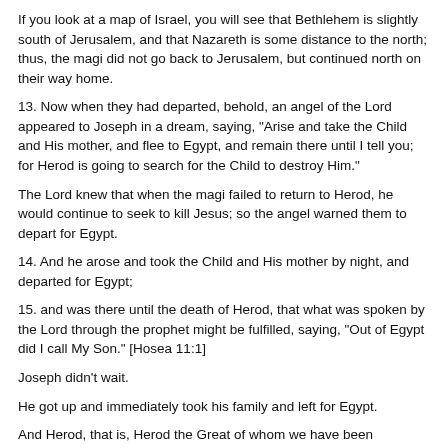If you look at a map of Israel, you will see that Bethlehem is slightly south of Jerusalem, and that Nazareth is some distance to the north; thus, the magi did not go back to Jerusalem, but continued north on their way home.
13. Now when they had departed, behold, an angel of the Lord appeared to Joseph in a dream, saying, "Arise and take the Child and His mother, and flee to Egypt, and remain there until I tell you; for Herod is going to search for the Child to destroy Him."
The Lord knew that when the magi failed to return to Herod, he would continue to seek to kill Jesus; so the angel warned them to depart for Egypt.
14. And he arose and took the Child and His mother by night, and departed for Egypt;
15. and was there until the death of Herod, that what was spoken by the Lord through the prophet might be fulfilled, saying, "Out of Egypt did I call My Son." [Hosea 11:1]
Joseph didn't wait.
He got up and immediately took his family and left for Egypt.
And Herod, that is, Herod the Great of whom we have been speaking, lived only a short time afterwards, perhaps dying in the same year that they left for Egypt.
16. Then when Herod saw that he had been tricked by the magi, he became very enraged, and sent and slew all the male children who were in Bethlehem and in all its environs, from two years old and under, according to the time which he had ascertained from the magi.
If Herod slew all the male children two years old and under, perhaps the star had appeared almost two years before this massacre, and the magi hadn't come until two years after the star appeared.